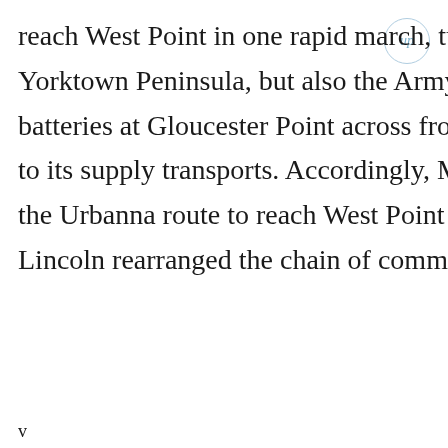reach West Point in one rapid march, turning the enemy forces on the Yorktown Peninsula, but also the Army could march on the enemy batteries at Gloucester Point across from Yorktown and open the river to its supply transports. Accordingly, McClellan had planned to take the Urbanna route to reach West Point but changed his mind when Lincoln rearranged the chain of command.
v